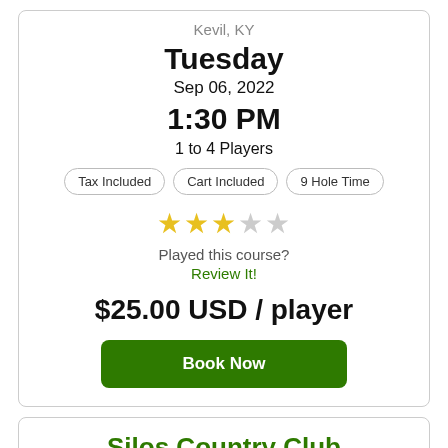Kevil, KY
Tuesday
Sep 06, 2022
1:30 PM
1 to 4 Players
Tax Included
Cart Included
9 Hole Time
[Figure (other): 3 filled gold stars and 2 empty stars rating]
Played this course?
Review It!
$25.00 USD / player
Book Now
Silos Country Club
Kevil, KY